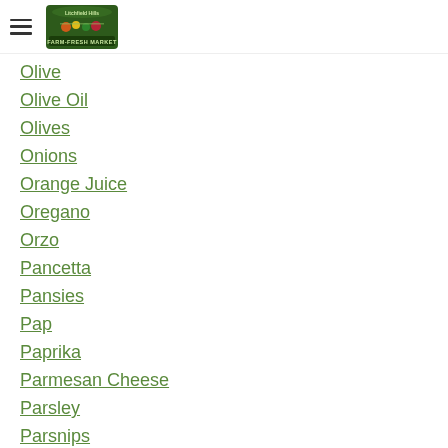Litchfield Hills Farm-Fresh Market
Olive
Olive Oil
Olives
Onions
Orange Juice
Oregano
Orzo
Pancetta
Pansies
Pap
Paprika
Parmesan Cheese
Parsley
Parsnips
Past…